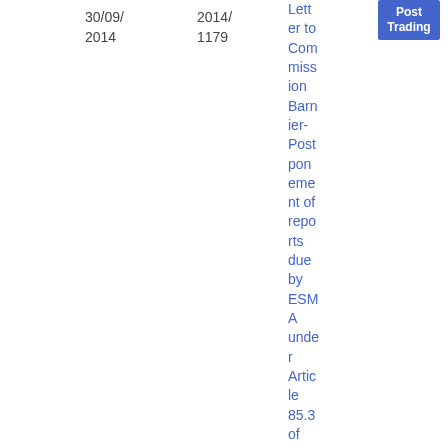| Date | Reference | Title | Category | Type | Download |
| --- | --- | --- | --- | --- | --- |
| 30/09/2014 | 2014/1179 | Letter to Commission Barnier- Postponement of reports due by ESMA under Article 85.3 of… | Post Trading | Letter | PDF 30.37 KB |